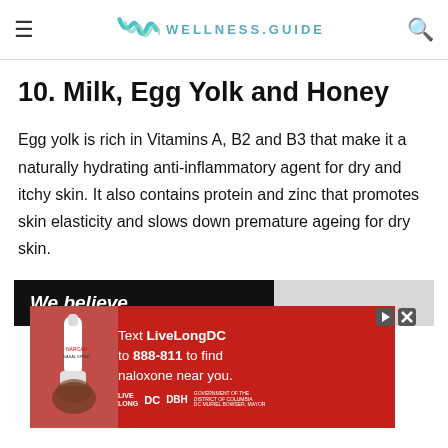WELLNESS.GUIDE
10. Milk, Egg Yolk and Honey
Egg yolk is rich in Vitamins A, B2 and B3 that make it a naturally hydrating anti-inflammatory agent for dry and itchy skin. It also contains protein and zinc that promotes skin elasticity and slows down premature ageing for dry skin.
[Figure (other): Advertisement showing a naloxone nasal spray with text: 'We believe... Text LiveLongDC to 888-811 to find naloxone near you.' with Live Long DC and DBH logos.]